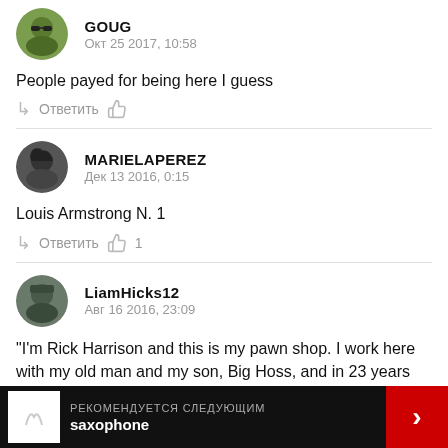[Figure (photo): Avatar of user GOUG - circular profile photo]
GOUG
Окт 25 2017, 10:58
People payed for being here I guess
Ответить
[Figure (photo): Avatar of user MARIELAPEREZ - circular profile photo]
MARIELAPEREZ
Дек 13 2016, 0:15
Louis Armstrong N. 1
Ответить  1
[Figure (photo): Avatar of user LiamHicks12 - circular profile photo]
LiamHicks12
Авг 16 2016, 23:09
"I'm Rick Harrison and this is my pawn shop. I work here with my old man and my son, Big Hoss, and in 23 years I've learned one thing.
РЕКОМЕНДУЕТСЯ СЛЕДУЮЩИМ saxophone →